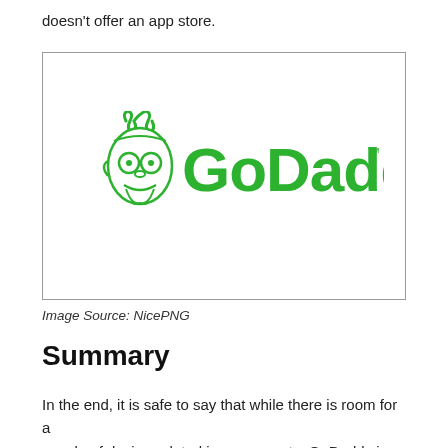doesn't offer an app store.
[Figure (logo): GoDaddy logo in green with mascot character on left side and 'GoDaddy' text with TM mark]
Image Source: NicePNG
Summary
In the end, it is safe to say that while there is room for a couple of design-related improvements, GoDaddy is a